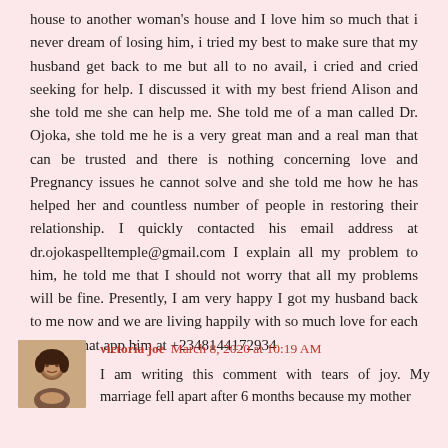house to another woman's house and I love him so much that i never dream of losing him, i tried my best to make sure that my husband get back to me but all to no avail, i cried and cried seeking for help. I discussed it with my best friend Alison and she told me she can help me. She told me of a man called Dr. Ojoka, she told me he is a very great man and a real man that can be trusted and there is nothing concerning love and Pregnancy issues he cannot solve and she told me how he has helped her and countless number of people in restoring their relationship. I quickly contacted his email address at dr.ojokaspelltemple@gmail.com I explain all my problem to him, he told me that I should not worry that all my problems will be fine. Presently, I am very happy I got my husband back to me now and we are living happily with so much love for each other. What app him at +2348144172934
[Figure (photo): Avatar photo of commenter victoria joe, a woman's face photo]
victoria joe March 8, 2020 at 10:19 AM
I am writing this comment with tears of joy. My marriage fell apart after 6 months because my mother